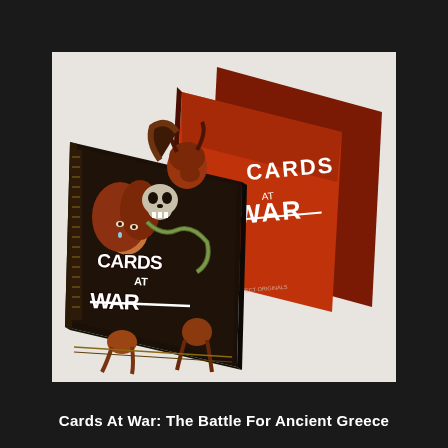[Figure (photo): Two card game boxes for 'Cards At War' displayed on a white surface. The front box shows dark fantasy artwork featuring mythological figures including a woman with orange hair, a skull, and snake, with the title 'Cards At War' in bold white letters. The back box shows a red/amber background with 'Cards War' logo text and a copyright notice for Escape Effect Originals.]
Cards At War: The Battle For Ancient Greece